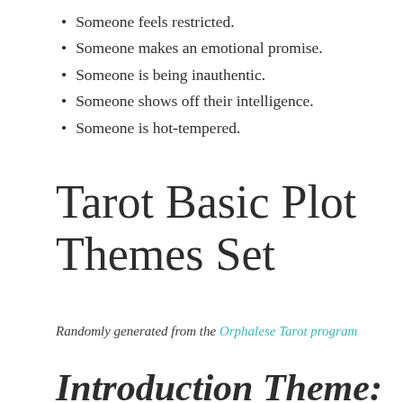Someone feels restricted.
Someone makes an emotional promise.
Someone is being inauthentic.
Someone shows off their intelligence.
Someone is hot-tempered.
Tarot Basic Plot Themes Set
Randomly generated from the Orphalese Tarot program
Introduction Theme: